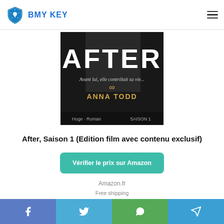BMY KEY
[Figure (photo): Book cover of 'After, Saison 1' by Anna Todd – dark cover with large white AFTER text, subtitle 'Avant lui, elle contrôlait sa vie...', infinity symbol, author name ANNA TODD in gold, Huge Roman / SAISON 1 at bottom]
After, Saison 1 (Edition film avec contenu exclusif)
Vérifier le prix sur Amazon
Amazon.fr
Free shipping